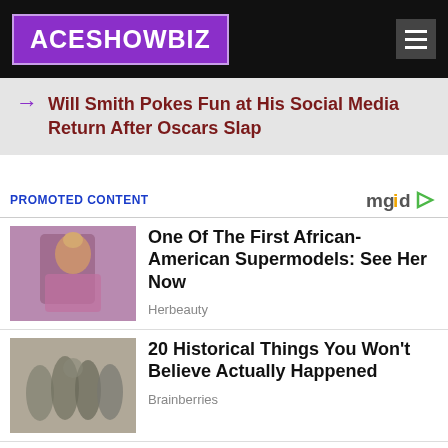ACESHOWBIZ
Will Smith Pokes Fun at His Social Media Return After Oscars Slap
PROMOTED CONTENT
[Figure (photo): African-American supermodel in pink outfit on runway]
One Of The First African-American Supermodels: See Her Now
Herbeauty
[Figure (photo): Black and white historical photo of group of women]
20 Historical Things You Won't Believe Actually Happened
Brainberries